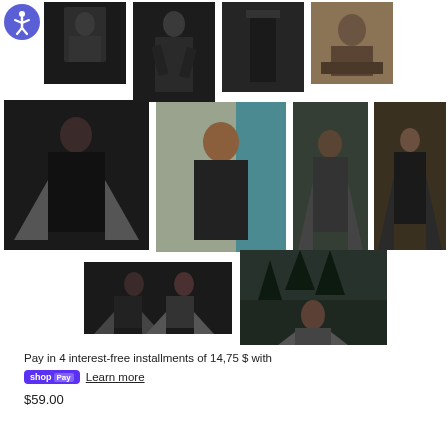[Figure (photo): Grid of product photos showing dark gothic flowing cloaks/robes worn by models in various outdoor and indoor settings. 9 photos total arranged in 3 rows.]
Pay in 4 interest-free installments of 14,75 $ with
shop Pay  Learn more
$59.00